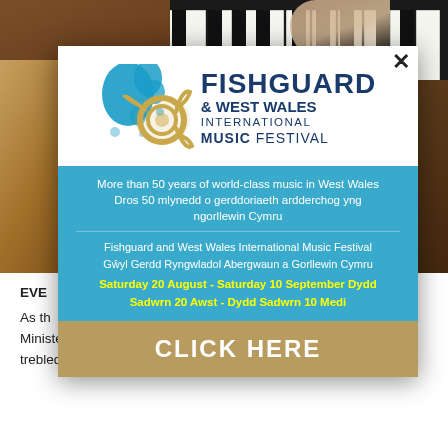[Figure (photo): Background photo of child playing piano, with hair visible and piano keys at top]
EVE... mus... ans for a... child...
As th... the Minister for Education has confirmed funding will be trebled, with £13.5m being invested over the next three
[Figure (illustration): Modal popup advertisement for Fishguard & West Wales International Music Festival with logo, blue info bar, and gold click here button]
FISHGUARD & WEST WALES INTERNATIONAL MUSIC FESTIVAL
More than 50 years of world-class music in West Wales
Dros 50 mlynedd o gerddoriaeth ardderchog yng ngorllewin Cymru
Fishguard and West Wales International Music Festival
Gŵyl Gerdd Ryngwladol Abergwaun a Gorllewin Cymru
Saturday 20 August - Saturday 10 September Dydd Sadwrn 20 Awst - Dydd Sadwrn 10 Medi
CLICK HERE